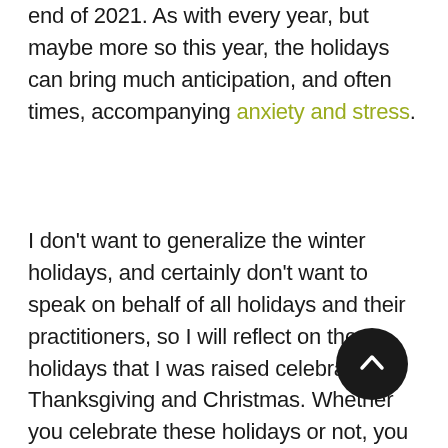end of 2021. As with every year, but maybe more so this year, the holidays can bring much anticipation, and often times, accompanying anxiety and stress.
I don't want to generalize the winter holidays, and certainly don't want to speak on behalf of all holidays and their practitioners, so I will reflect on the holidays that I was raised celebrating, Thanksgiving and Christmas. Whether you celebrate these holidays or not, you have certainly been impacted by them if not more than the calendar revolves around these two holidays, and family celebrations often falling during these times.